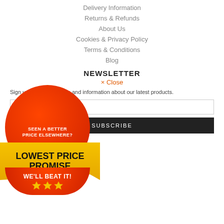Delivery Information
Returns & Refunds
About Us
Cookies & Privacy Policy
Terms & Conditions
Blog
NEWSLETTER
× Close
Sign up for special offers and information about our latest products.
[Figure (illustration): Lowest Price Promise badge: red circular badge with 'SEEN A BETTER PRICE ELSEWHERE?' text, yellow ribbon banner with 'LOWEST PRICE PROMISE' text, red bottom arc with 'WE'LL BEAT IT!' and three gold stars]
SUBSCRIBE